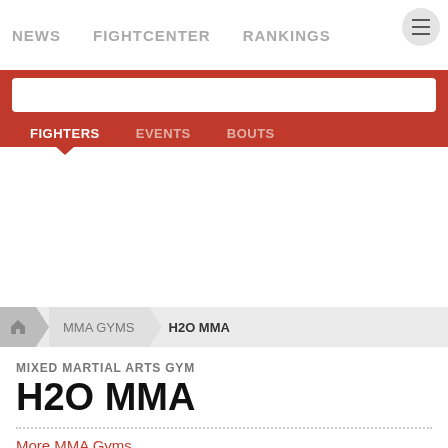NEWS  FIGHTCENTER  RANKINGS
[Figure (screenshot): Red search bar with FIGHTERS, EVENTS, BOUTS tabs]
MMA GYMS > H2O MMA (breadcrumb navigation)
MIXED MARTIAL ARTS GYM
H2O MMA
More MMA Gyms